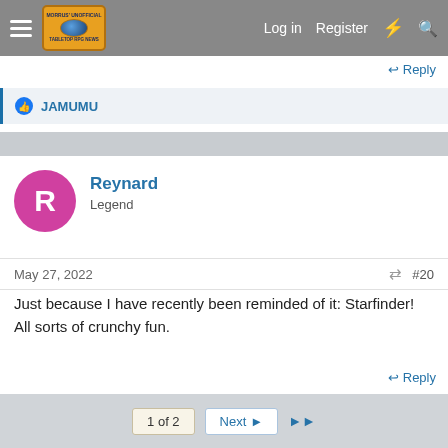Morrus' Unofficial Tabletop RPG News — Log in | Register
↩ Reply
👍 JAMUMU
Reynard
Legend
May 27, 2022    #20
Just because I have recently been reminded of it: Starfinder! All sorts of crunchy fun.
↩ Reply
1 of 2  Next ▶  ▶▶